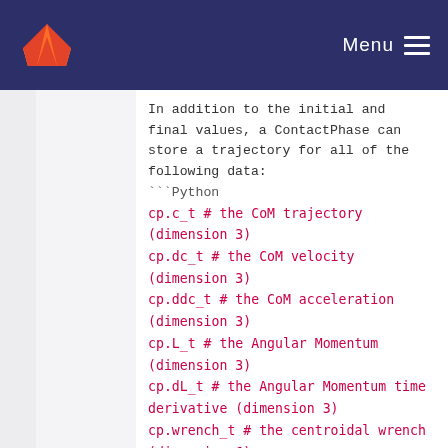Menu
In addition to the initial and final values, a ContactPhase can store a trajectory for all of the following data:
```Python
cp.c_t # the CoM trajectory (dimension 3)
cp.dc_t # the CoM velocity (dimension 3)
cp.ddc_t # the CoM acceleration (dimension 3)
cp.L_t #  the Angular Momentum (dimension 3)
cp.dL_t # the Angular Momentum time derivative (dimension 3)
cp.wrench_t # the centroidal wrench (dimension 6)
cp.zmp_t # the Zero Moment Point (dimension 3)
cp.root_t # the base position and